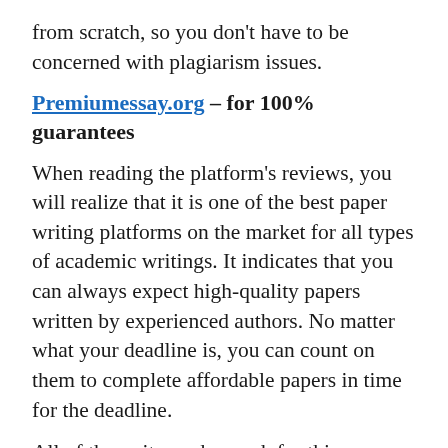from scratch, so you don't have to be concerned with plagiarism issues.
Premiumessay.org – for 100% guarantees
When reading the platform's reviews, you will realize that it is one of the best paper writing platforms on the market for all types of academic writings. It indicates that you can always expect high-quality papers written by experienced authors. No matter what your deadline is, you can count on them to complete affordable papers in time for the deadline.
All of the writers who work for this company have a Ph.D. or a Master's degree, so you can be confident that you will receive high-quality, 100% relevant content related to your subject. PremiumEssay only hires writers with a minimum of 4-5 years of...